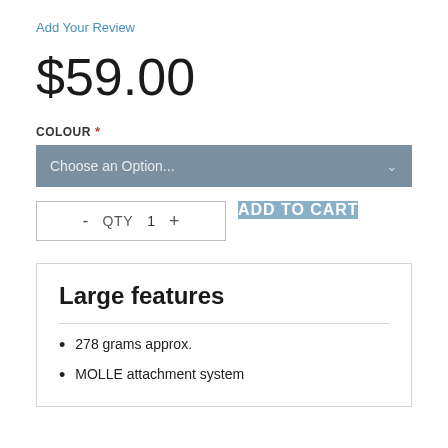Add Your Review
$59.00
COLOUR *
Choose an Option...
- QTY 1 +
ADD TO CART
Large features
278 grams approx.
MOLLE attachment system